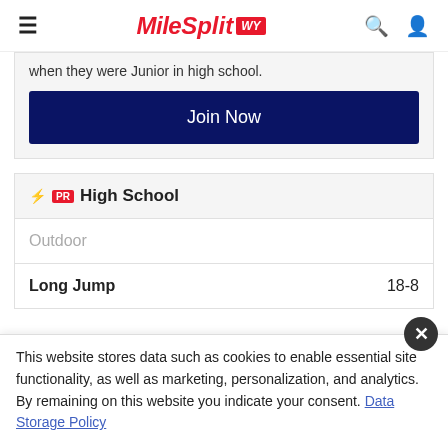MileSplit WY
when they were Junior in high school.
Join Now
⚡PR  High School
Outdoor
| Event | Result |
| --- | --- |
| Long Jump | 18-8 |
This website stores data such as cookies to enable essential site functionality, as well as marketing, personalization, and analytics. By remaining on this website you indicate your consent. Data Storage Policy